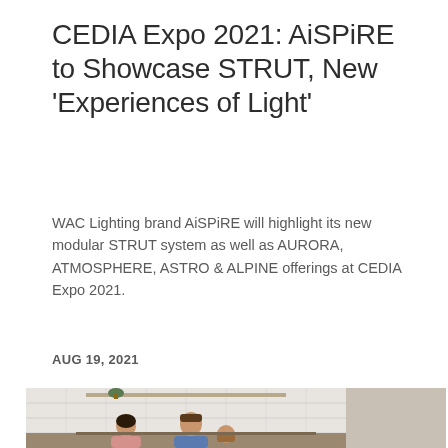CEDIA Expo 2021: AiSPiRE to Showcase STRUT, New ‘Experiences of Light’
WAC Lighting brand AiSPiRE will highlight its new modular STRUT system as well as AURORA, ATMOSPHERE, ASTRO & ALPINE offerings at CEDIA Expo 2021.
AUG 19, 2021
[Figure (photo): Photo of a family in a modern kitchen with track lighting; a woman in a pink top, a man in a blue shirt, and a child are gathered around a kitchen counter. The kitchen features white subway tile, open shelving with plants and decor, and stainless appliances.]